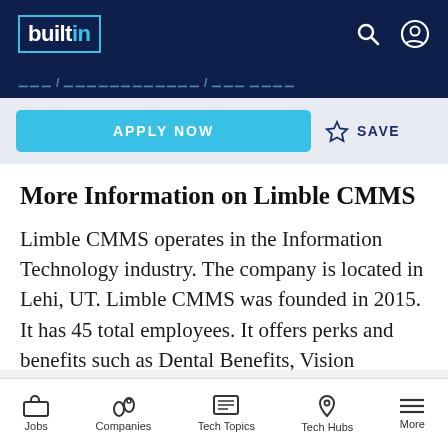builtin
APPLY NOW   ☆ SAVE
More Information on Limble CMMS
Limble CMMS operates in the Information Technology industry. The company is located in Lehi, UT. Limble CMMS was founded in 2015. It has 45 total employees. It offers perks and benefits such as Dental Benefits, Vision Benefits, Health Insurance Benefits, 401(K), Paid Sick Days and Stocked
Jobs   Companies   Tech Topics   Tech Hubs   More